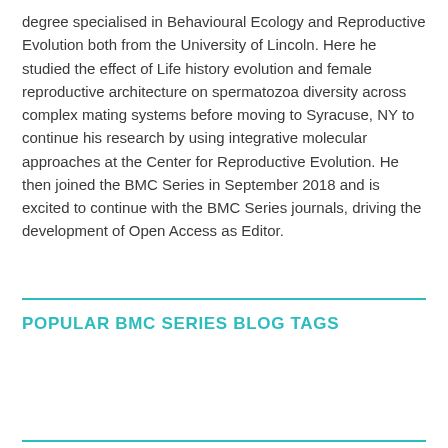degree specialised in Behavioural Ecology and Reproductive Evolution both from the University of Lincoln. Here he studied the effect of Life history evolution and female reproductive architecture on spermatozoa diversity across complex mating systems before moving to Syracuse, NY to continue his research by using integrative molecular approaches at the Center for Reproductive Evolution. He then joined the BMC Series in September 2018 and is excited to continue with the BMC Series journals, driving the development of Open Access as Editor.
POPULAR BMC SERIES BLOG TAGS